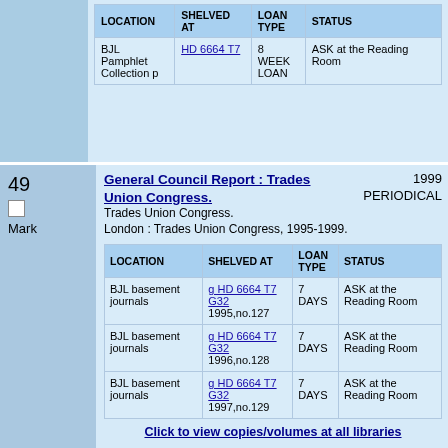| LOCATION | SHELVED AT | LOAN TYPE | STATUS |
| --- | --- | --- | --- |
| BJL Pamphlet Collection p | HD 6664 T7 | 8 WEEK LOAN | ASK at the Reading Room |
49
Mark
General Council Report : Trades Union Congress.
1999 PERIODICAL
Trades Union Congress.
London : Trades Union Congress, 1995-1999.
| LOCATION | SHELVED AT | LOAN TYPE | STATUS |
| --- | --- | --- | --- |
| BJL basement journals | g HD 6664 T7 G32 1995,no.127 | 7 DAYS | ASK at the Reading Room |
| BJL basement journals | g HD 6664 T7 G32 1996,no.128 | 7 DAYS | ASK at the Reading Room |
| BJL basement journals | g HD 6664 T7 G32 1997,no.129 | 7 DAYS | ASK at the Reading Room |
Click to view copies/volumes at all libraries
50
Mark
General Council's report to the congress/ Trades Union Congress.
1962 PERIODICAL
Trades Union Congress.
London : T.U.C., 1958-1962.
| LOCATION | SHELVED AT | LOAN TYPE | STATUS |
| --- | --- | --- | --- |